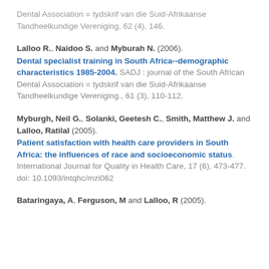Dental Association = tydskrif van die Suid-Afrikaanse Tandheelkundige Vereniging, 62 (4), 146.
Lalloo R., Naidoo S. and Myburah N. (2006). Dental specialist training in South Africa--demographic characteristics 1985-2004. SADJ : journal of the South African Dental Association = tydskrif van die Suid-Afrikaanse Tandheelkundige Vereniging., 61 (3), 110-112.
Myburgh, Neil G., Solanki, Geetesh C., Smith, Matthew J. and Lalloo, Ratilal (2005). Patient satisfaction with health care providers in South Africa: the influences of race and socioeconomic status. International Journal for Quality in Health Care, 17 (6), 473-477. doi: 10.1093/intqhc/mzi062
Bataringaya, A, Ferguson, M and Lalloo, R (2005).